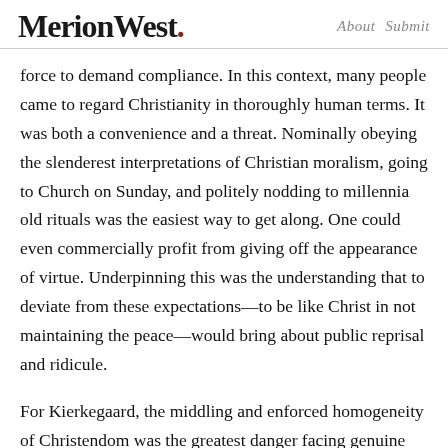MerionWest. About Submit
force to demand compliance. In this context, many people came to regard Christianity in thoroughly human terms. It was both a convenience and a threat. Nominally obeying the slenderest interpretations of Christian moralism, going to Church on Sunday, and politely nodding to millennia old rituals was the easiest way to get along. One could even commercially profit from giving off the appearance of virtue. Underpinning this was the understanding that to deviate from these expectations—to be like Christ in not maintaining the peace—would bring about public reprisal and ridicule.
For Kierkegaard, the middling and enforced homogeneity of Christendom was the greatest danger facing genuine Christianity. In many ways, it was far better to see